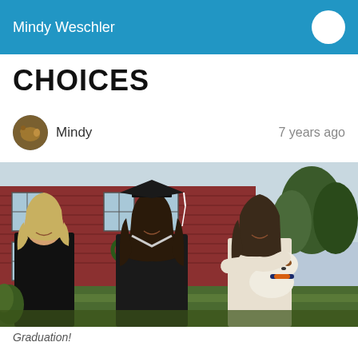Mindy Weschler
CHOICES
Mindy   7 years ago
[Figure (photo): Three women posing in front of a red brick building. The middle woman wears a graduation cap and gown. The right woman holds a small Jack Russell terrier dog. Background shows building with windows and a wreath decoration.]
Graduation!